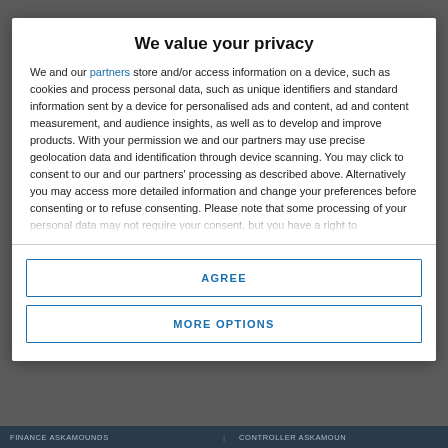We value your privacy
We and our partners store and/or access information on a device, such as cookies and process personal data, such as unique identifiers and standard information sent by a device for personalised ads and content, ad and content measurement, and audience insights, as well as to develop and improve products. With your permission we and our partners may use precise geolocation data and identification through device scanning. You may click to consent to our and our partners' processing as described above. Alternatively you may access more detailed information and change your preferences before consenting or to refuse consenting. Please note that some processing of your personal data may not require your consent, but you have a right to
AGREE
MORE OPTIONS
FINANCE ASKAMOUNDS   CONTROLLER ASKAMOUN